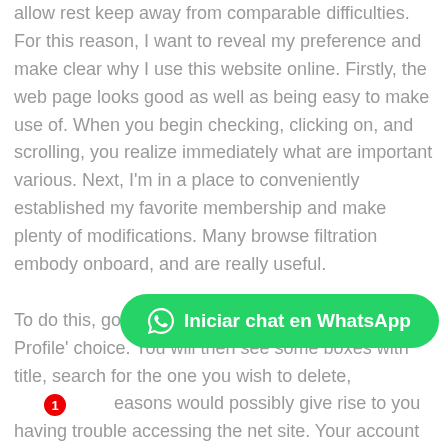allow rest keep away from comparable difficulties. For this reason, I want to reveal my preference and make clear why I use this website online. Firstly, the web page looks good as well as being easy to make use of. When you begin checking, clicking on, and scrolling, you realize immediately what are important various. Next, I'm in a place to conveniently established my favorite membership and make plenty of modifications. Many browse filtration embody onboard, and are really useful.

To do this, go to 'My Profile' and click on the 'Edit Profile' choice. You will then see some boxes with title, search for the one you wish to delete, easons would possibly give rise to you having trouble accessing the net site. Your account might have been suspended briefly, banned, or even
[Figure (other): Green WhatsApp chat button with WhatsApp icon, text 'Iniciar chat en WhatsApp', and a red notification badge showing '1']